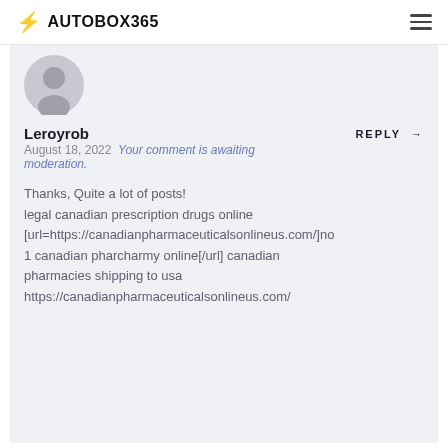⚡ AUTOBOX365
[Figure (illustration): User avatar — grey silhouette person icon on light grey circle background]
Leroyrob
REPLY →
August 18, 2022  Your comment is awaiting moderation.
Thanks, Quite a lot of posts!
legal canadian prescription drugs online [url=https://canadianpharmaceuticalsonlineus.com/]no 1 canadian pharcharmy online[/url] canadian pharmacies shipping to usa https://canadianpharmaceuticalsonlineus.com/